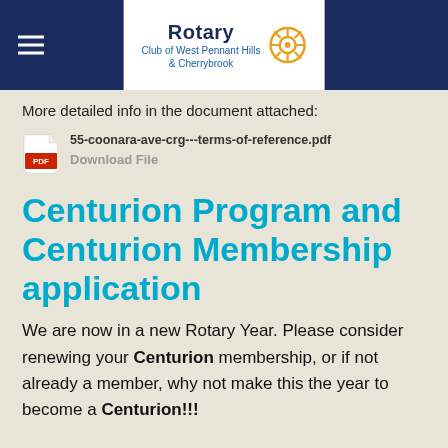Rotary Club of West Pennant Hills & Cherrybrook
More detailed info in the document attached:
55-coonara-ave-crg---terms-of-reference.pdf
Download File
Centurion Program and Centurion Membership application
We are now in a new Rotary Year. Please consider renewing your Centurion membership, or if not already a member, why not make this the year to become a Centurion!!!